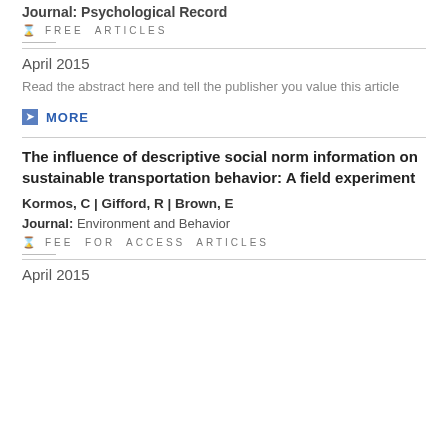Journal: Psychological Record
FREE ARTICLES
April 2015
Read the abstract here and tell the publisher you value this article
MORE
The influence of descriptive social norm information on sustainable transportation behavior: A field experiment
Kormos, C | Gifford, R | Brown, E
Journal: Environment and Behavior
FEE FOR ACCESS ARTICLES
April 2015